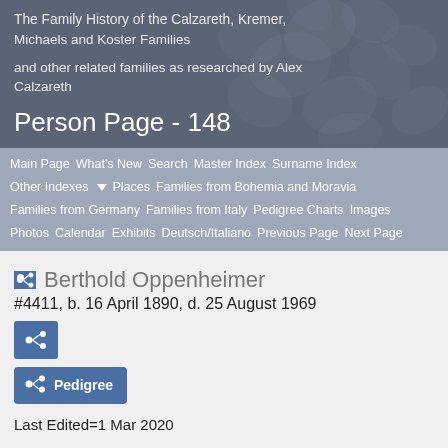The Family History of the Calzareth, Kremer, Michaels and Koster Families
and other related families as researched by Alex Calzareth
Person Page - 148
Main Page  What's New  Search  Master Index  Surname Index  Other Indexes ▼  Places  Families from Bohemia and Moravia  Families from Germany  Families from Italy  Pedigree Charts  Images  Photos  Calendar  Exhibits  Deutsch/Italiano  Previous Page  Next Page
Berthold Oppenheimer
#4411, b. 16 April 1890, d. 25 August 1969
Last Edited=1 Mar 2020
Relationship
2nd cousin 4 times removed of Alexander Cody Calzareth